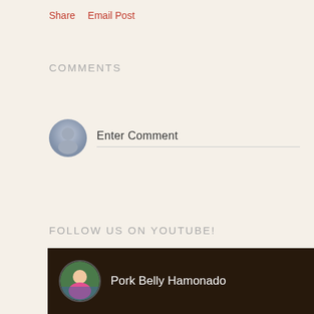Share   Email Post
COMMENTS
Enter Comment
FOLLOW US ON YOUTUBE!
[Figure (screenshot): YouTube video thumbnail showing a woman in pink top with circular avatar, title 'Pork Belly Hamonado' on dark background]